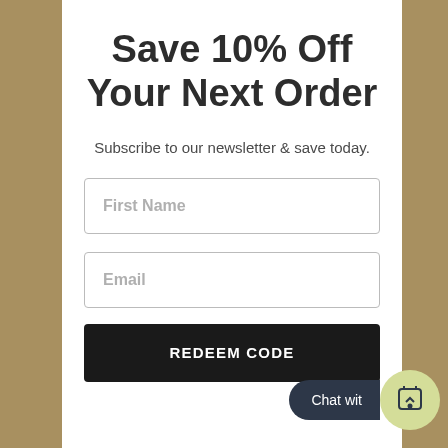Save 10% Off Your Next Order
Subscribe to our newsletter & save today.
First Name
Email
REDEEM CODE
Chat wit